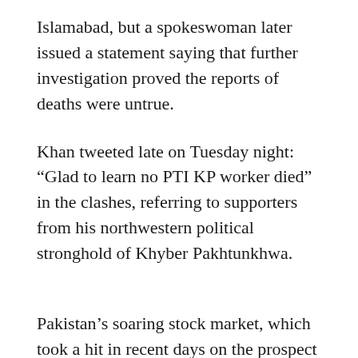Islamabad, but a spokeswoman later issued a statement saying that further investigation proved the reports of deaths were untrue.
Khan tweeted late on Tuesday night: “Glad to learn no PTI KP worker died” in the clashes, referring to supporters from his northwestern political stronghold of Khyber Pakhtunkhwa.
Pakistan’s soaring stock market, which took a hit in recent days on the prospect of the protests, bounced sharply after Khan’s decision to call them off.
KARACHI ROUTE